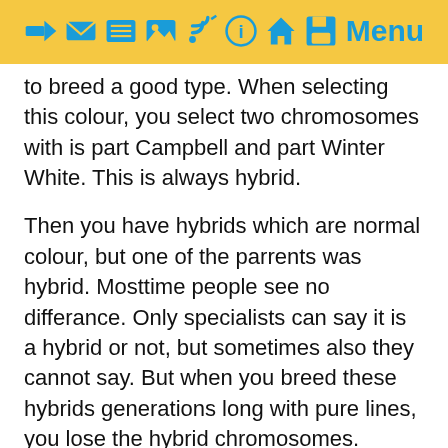Menu (navigation icons)
to breed a good type. When selecting this colour, you select two chromosomes with is part Campbell and part Winter White. This is always hybrid.
Then you have hybrids which are normal colour, but one of the parrents was hybrid. Mosttime people see no differance. Only specialists can say it is a hybrid or not, but sometimes also they cannot say. But when you breed these hybrids generations long with pure lines, you lose the hybrid chromosomes. People who say hybrid is always hybrid, that is not correct when you do not select. When you breed a dwarfhamster which is born from a Campbell x Winter White, it has 50% chromosomes which